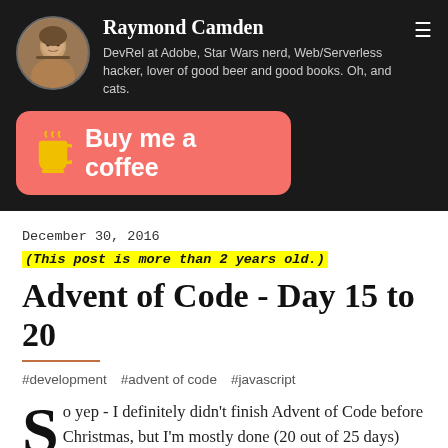Raymond Camden
DevRel at Adobe, Star Wars nerd, Web/Serverless hacker, lover of good beer and good books. Oh, and cats.
[Figure (illustration): Buy me a coffee button with coffee cup icon on coral/salmon background]
December 30, 2016 (This post is more than 2 years old.)
Advent of Code - Day 15 to 20
#development   #advent of code   #javascript
So yep - I definitely didn't finish Advent of Code before Christmas, but I'm mostly done (20 out of 25 days) and I plan to keep at it in the next week or so. This